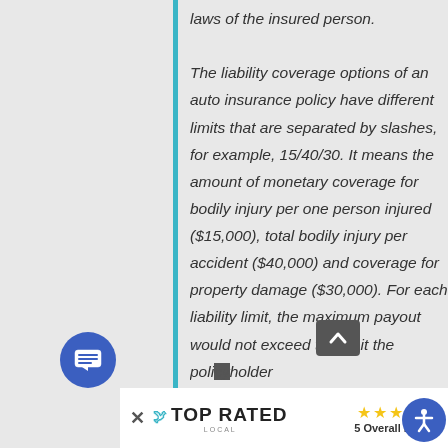laws of the insured person. The liability coverage options of an auto insurance policy have different limits that are separated by slashes, for example, 15/40/30. It means the amount of monetary coverage for bodily injury per one person injured ($15,000), total bodily injury per accident ($40,000) and coverage for property damage ($30,000). For each liability limit, the maximum payout would not exceed the limit the policyholder